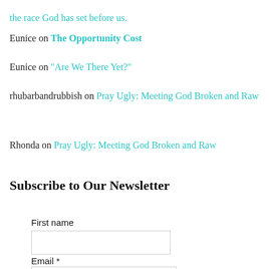the race God has set before us.
Eunice on The Opportunity Cost
Eunice on "Are We There Yet?"
rhubarbandrubbish on Pray Ugly: Meeting God Broken and Raw
Rhonda on Pray Ugly: Meeting God Broken and Raw
Subscribe to Our Newsletter
First name
Email *